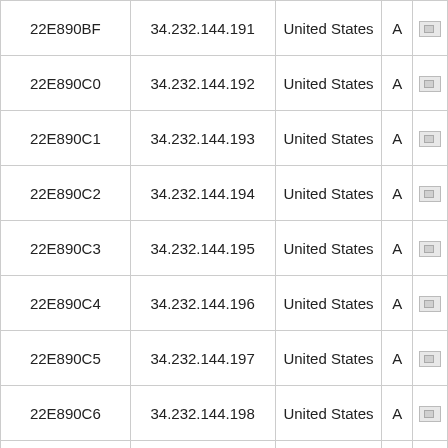|  |  |  |  |  |
| --- | --- | --- | --- | --- |
| 22E890BF | 34.232.144.191 | United States | A | 🖥 |
| 22E890C0 | 34.232.144.192 | United States | A | 🖥 |
| 22E890C1 | 34.232.144.193 | United States | A | 🖥 |
| 22E890C2 | 34.232.144.194 | United States | A | 🖥 |
| 22E890C3 | 34.232.144.195 | United States | A | 🖥 |
| 22E890C4 | 34.232.144.196 | United States | A | 🖥 |
| 22E890C5 | 34.232.144.197 | United States | A | 🖥 |
| 22E890C6 | 34.232.144.198 | United States | A | 🖥 |
| 22E890C7 | 34.232.144.199 | United States | A | 🖥 |
| 22E890C8 | 34.232.144.200 | United States | A | 🖥 |
| 22E890C9 | 34.232.144.201 | United States | A | 🖥 |